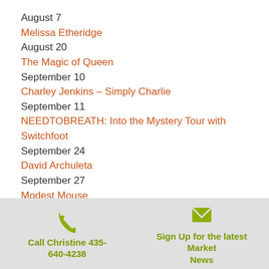August 7
Melissa Etheridge
August 20
The Magic of Queen
September 10
Charley Jenkins – Simply Charlie
September 11
NEEDTOBREATH: Into the Mystery Tour with Switchfoot
September 24
David Archuleta
September 27
Modest Mouse
Located in nearby Kamas, the DeJoria Center offers an indoor venue and year-round programming, with a free Thursday Night summer concert series sponsored by
Call Christine 435-640-4238 | Sign Up for the latest Market News